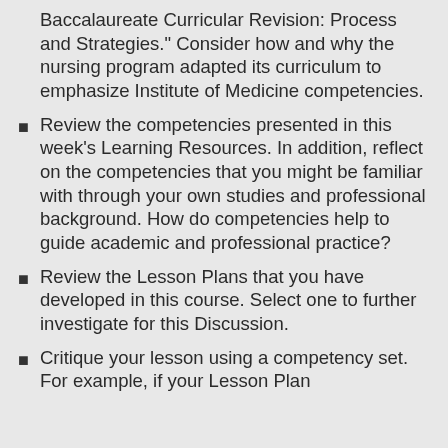Baccalaureate Curricular Revision: Process and Strategies." Consider how and why the nursing program adapted its curriculum to emphasize Institute of Medicine competencies.
Review the competencies presented in this week's Learning Resources. In addition, reflect on the competencies that you might be familiar with through your own studies and professional background. How do competencies help to guide academic and professional practice?
Review the Lesson Plans that you have developed in this course. Select one to further investigate for this Discussion.
Critique your lesson using a competency set. For example, if your Lesson Plan